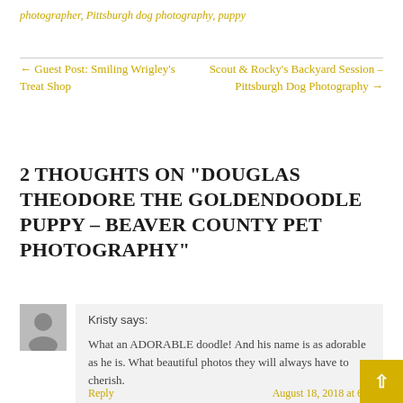photographer, Pittsburgh dog photography, puppy
← Guest Post: Smiling Wrigley's Treat Shop
Scout & Rocky's Backyard Session – Pittsburgh Dog Photography →
2 THOUGHTS ON "DOUGLAS THEODORE THE GOLDENDOODLE PUPPY – BEAVER COUNTY PET PHOTOGRAPHY"
Kristy says:
What an ADORABLE doodle! And his name is as adorable as he is. What beautiful photos they will always have to cherish.
Reply
August 18, 2018 at 6...